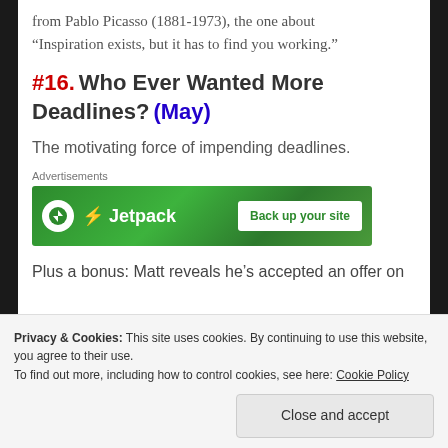from Pablo Picasso (1881-1973), the one about “Inspiration exists, but it has to find you working.”
#16. Who Ever Wanted More Deadlines? (May)
The motivating force of impending deadlines.
[Figure (other): Jetpack advertisement banner: green background with Jetpack logo and 'Back up your site' button]
Plus a bonus: Matt reveals he’s accepted an offer on
Privacy & Cookies: This site uses cookies. By continuing to use this website, you agree to their use.
To find out more, including how to control cookies, see here: Cookie Policy